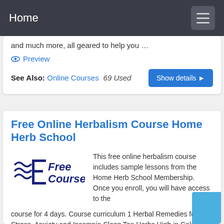Home
and much more, all geared to help you …
Preview
See Also: Online Courses  69 Used
Free Online Herbalism Course Home Herb School
[Figure (logo): Free Courses logo with stylized E and wave lines]
This free online herbalism course includes sample lessons from the Home Herb School Membership. Once you enroll, you will have access to the course for 4 days. Course curriculum 1 Herbal Remedies for Stress, Anxiety and Insomnia Sleep Tea Herbs High in Calcium to Feed the Nervous System List